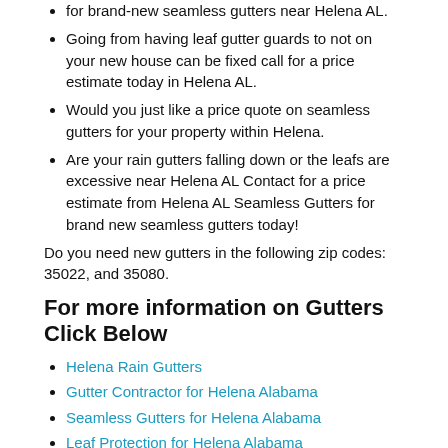Going from having leaf gutter guards to not on your new house can be fixed call for a price estimate today in Helena AL.
Would you just like a price quote on seamless gutters for your property within Helena.
Are your rain gutters falling down or the leafs are excessive near Helena AL Contact for a price estimate from Helena AL Seamless Gutters for brand new seamless gutters today!
Do you need new gutters in the following zip codes: 35022, and 35080.
For more information on Gutters Click Below
Helena Rain Gutters
Gutter Contractor for Helena Alabama
Seamless Gutters for Helena Alabama
Leaf Protection for Helena Alabama
Aluminum Gutters for Helena
[forecast location="33.296224,-86.8436004" caption="Weather for Helena" measurement='F' todaylabel="Today" datelabel="date('m/d/Y')" highlow='%%high%%°/%%low%%°'